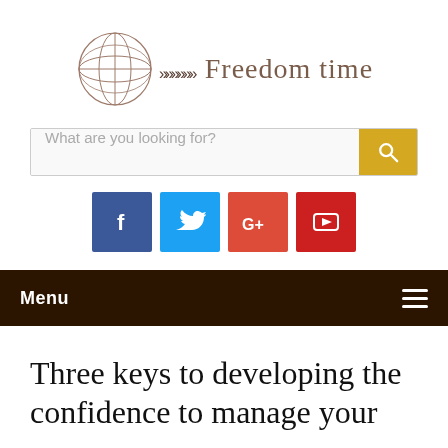[Figure (logo): Freedom time logo with globe and chevron arrows]
[Figure (screenshot): Search bar with placeholder 'What are you looking for?' and yellow search button]
[Figure (infographic): Social media icon buttons: Facebook (dark blue), Twitter (light blue), Google+ (red-orange), YouTube (red)]
Menu
Three keys to developing the confidence to manage your